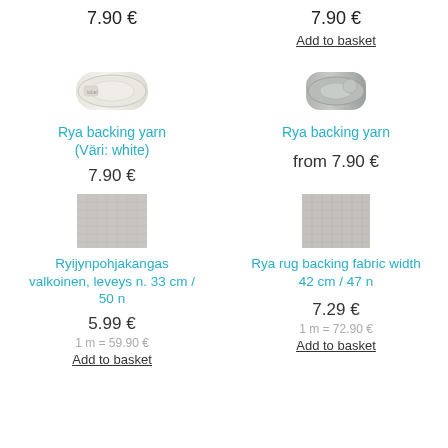7.90 €
7.90 €
Add to basket
[Figure (photo): Rya backing yarn skein, white/cream colored]
[Figure (photo): Rya backing yarn skein, grey colored]
Rya backing yarn (Väri: white)
7.90 €
Rya backing yarn
from 7.90 €
[Figure (photo): Ryijynpohjakangas / rya rug backing fabric, white, woven texture close-up]
Ryijynpohjakangas valkoinen, leveys n. 33 cm / 50 n
5.99 €
1 m = 59.90 €
Add to basket
[Figure (photo): Rya rug backing fabric, grey/white, woven texture close-up]
Rya rug backing fabric width 42 cm / 47 n
7.29 €
1 m = 72.90 €
Add to basket